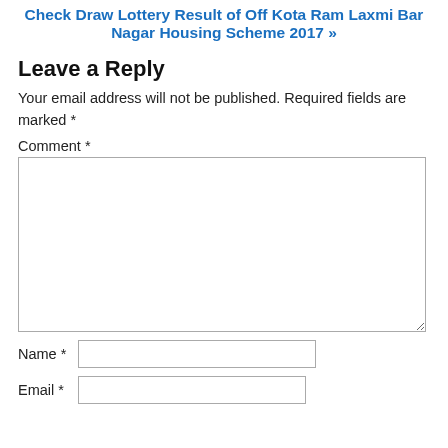Check Draw Lottery Result of Off Kota Ram Laxmi Bar Nagar Housing Scheme 2017 »
Leave a Reply
Your email address will not be published. Required fields are marked *
Comment *
Name *
Email *